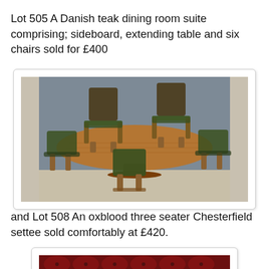Lot 505 A Danish teak dining room suite comprising; sideboard, extending table and six chairs sold for £400
[Figure (photo): Danish teak dining room suite showing an extending table surrounded by six chairs with teak frames and olive green upholstery, photographed against a grey background]
and Lot 508 An oxblood three seater Chesterfield settee sold comfortably at £420.
[Figure (photo): Partial view of an oxblood red leather Chesterfield settee showing the tufted back detail]